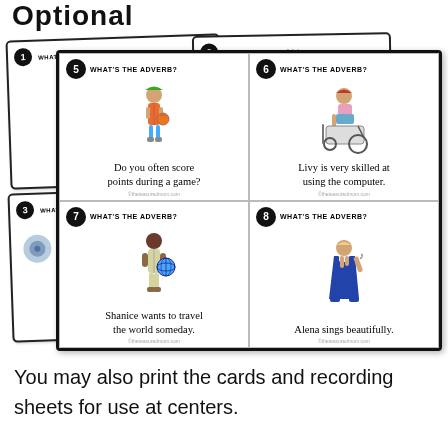Optional
[Figure (illustration): A collection of 'What's the Adverb?' game cards fanned out, showing cards numbered 1-8. Visible cards include: Card 5 - 'Do you often score points during a game?', Card 6 - 'Livy is very skilled at using the computer.', Card 7 - 'Shanice wants to travel the world someday.', Card 8 - 'Alena sings beautifully.' Background cards partially show cards 1, 2, 3 with partial text 'Ella rarely... when the...' and 'Trevor mak...']
You may also print the cards and recording sheets for use at centers.